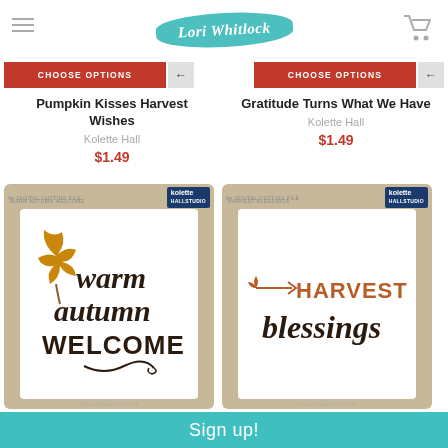Lori Whitlock
CHOOSE OPTIONS  CHOOSE OPTIONS
Pumpkin Kisses Harvest Wishes
Kolette Hall
$1.49
Gratitude Turns What We Have
Kolette Hall
$1.49
[Figure (photo): Product image: digital cutting file 'Warm Autumn Welcome' by Kolette Hall Studio, showing a tan card with hand-lettered text and oak leaf design]
[Figure (photo): Product image: digital cutting file 'Harvest Blessings' by Kolette Hall Studio, showing a tan card with hand-lettered Harvest Blessings text]
Sign up!